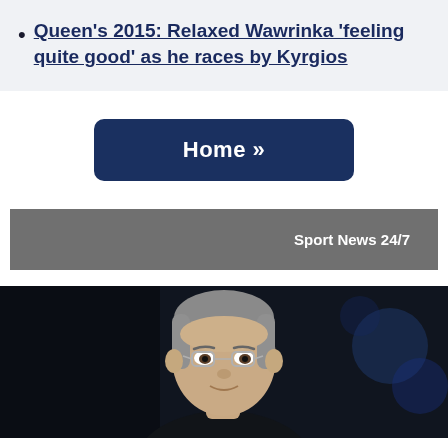Queen's 2015: Relaxed Wawrinka 'feeling quite good' as he races by Kyrgios
Home »
Sport News 24/7
[Figure (photo): Photo of a man with grey hair and glasses, appearing to be a sports presenter or commentator, against a dark blue background]